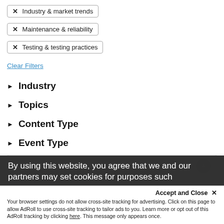✕ Industry & market trends
✕ Maintenance & reliability
✕ Testing & testing practices
Clear Filters
▶ Industry
▶ Topics
▶ Content Type
▶ Event Type
TAPPI News
More Days Mean More Pulp
...thinking for ways to increase production at processes such...
By using this website, you agree that we and our partners may set cookies for purposes such
Accept and Close ✕
Your browser settings do not allow cross-site tracking for advertising. Click on this page to allow AdRoll to use cross-site tracking to tailor ads to you. Learn more or opt out of this AdRoll tracking by clicking here. This message only appears once.